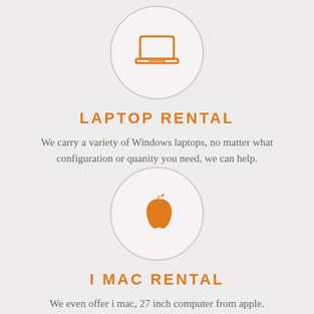[Figure (illustration): Orange laptop icon inside a light gray circle with border]
LAPTOP RENTAL
We carry a variety of Windows laptops, no matter what configuration or quanity you need, we can help.
[Figure (logo): Orange Apple logo icon inside a light gray circle with border]
I MAC RENTAL
We even offer i mac, 27 inch computer from apple.